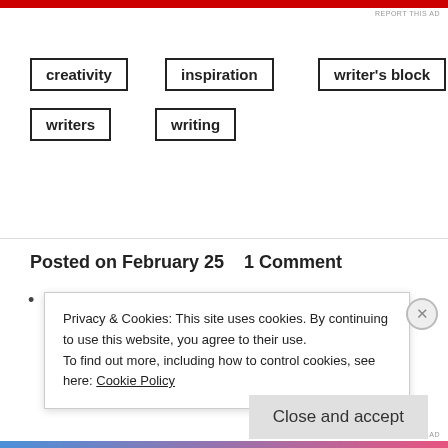[Figure (other): Red advertisement banner bar at top of page]
REPORT THIS AD
creativity
inspiration
writer's block
writers
writing
Posted on February 25     1 Comment
Privacy & Cookies: This site uses cookies. By continuing to use this website, you agree to their use.
To find out more, including how to control cookies, see here: Cookie Policy
Close and accept
[Figure (other): Gradient advertisement banner bar at bottom of page]
REPORT THIS AD